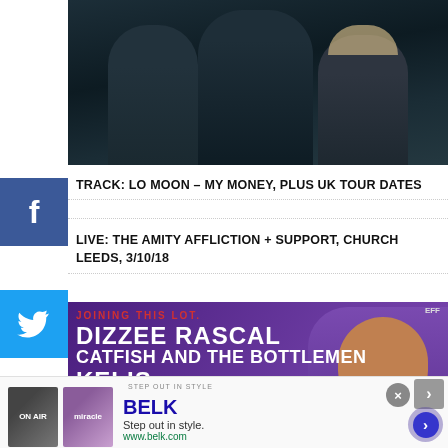[Figure (photo): Dark promotional photo of three people (band members) wearing dark clothing against a dark background]
TRACK: LO MOON – MY MONEY, PLUS UK TOUR DATES
LIVE: THE AMITY AFFLICTION + SUPPORT, CHURCH LEEDS, 3/10/18
[Figure (photo): Festival advertisement banner with purple background showing text: JOINING THIS LOT. DIZZEE RASCAL CATFISH AND THE BOTTLEMEN KELIS, with a person in the right side]
[Figure (photo): Advertisement for Belk: Step out in style. www.belk.com with two thumbnail images]